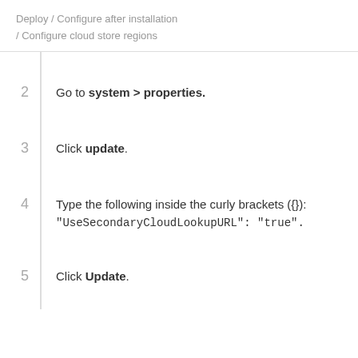Deploy / Configure after installation / Configure cloud store regions
Go to system > properties.
Click update.
Type the following inside the curly brackets ({}): "UseSecondaryCloudLookupURL": "true".
Click Update.